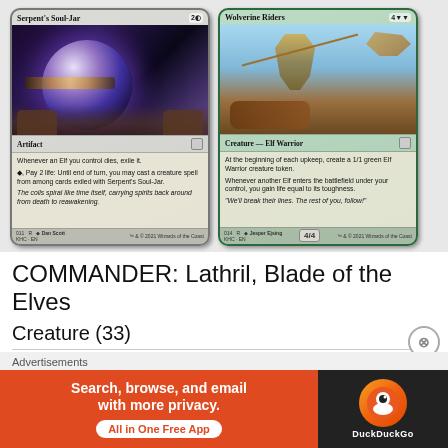[Figure (illustration): Two Magic: The Gathering cards side by side. Left card: Serpent's Soul-Jar (Artifact, cost 2+colorless), showing a glowing purple orb/jar held in hands, with gold banding. Right card: Wolverine Riders (Creature - Elf Warrior, cost 4+green+green), showing an elf warrior riding with a wolverine creature in a sky scene.]
COMMANDER: Lathril, Blade of the Elves
Creature (33)
1 Beast Whisperer
Advertisements
[Figure (screenshot): DuckDuckGo advertisement banner. Orange left section reads 'Search, browse, and email with more privacy. All in One Free App'. Black right section shows DuckDuckGo logo and name.]